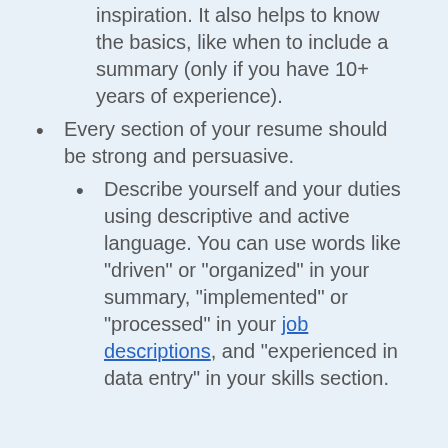inspiration. It also helps to know the basics, like when to include a summary (only if you have 10+ years of experience).
Every section of your resume should be strong and persuasive.
Describe yourself and your duties using descriptive and active language. You can use words like "driven" or "organized" in your summary, "implemented" or "processed" in your job descriptions, and "experienced in data entry" in your skills section.